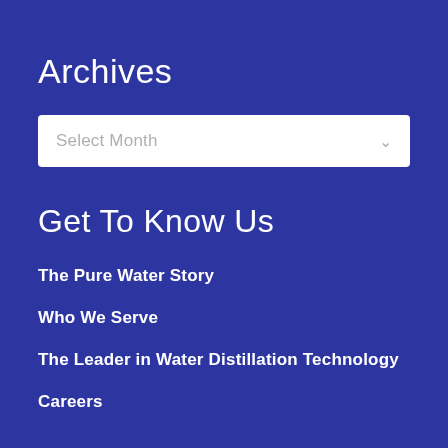Archives
Select Month
Get To Know Us
The Pure Water Story
Who We Serve
The Leader in Water Distillation Technology
Careers